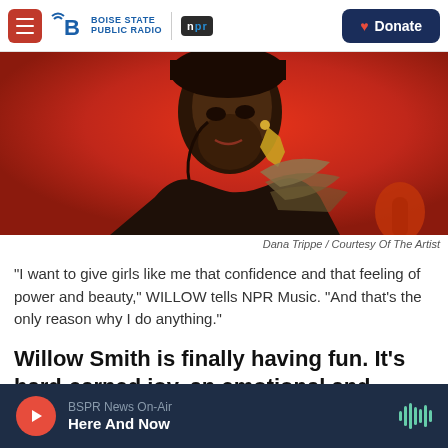Boise State Public Radio | NPR | Donate
[Figure (photo): Artistic/illustrated portrait of Willow Smith against a vivid red background, wearing earrings and headphones cord visible]
Dana Trippe / Courtesy Of The Artist
"I want to give girls like me that confidence and that feeling of power and beauty," WILLOW tells NPR Music. "And that's the only reason why I do anything."
Willow Smith is finally having fun. It's hard-earned joy, an emotional and creative development that shines through her latest release, a pop-punk
BSPR News On-Air
Here And Now